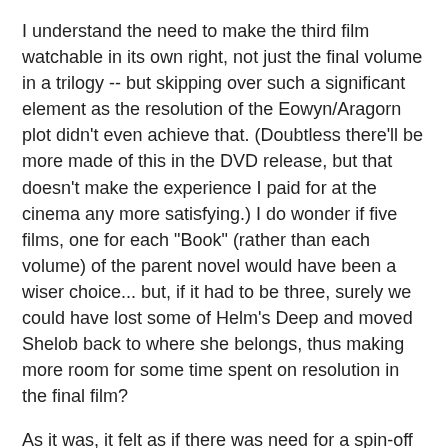I understand the need to make the third film watchable in its own right, not just the final volume in a trilogy -- but skipping over such a significant element as the resolution of the Eowyn/Aragorn plot didn't even achieve that. (Doubtless there'll be more made of this in the DVD release, but that doesn't make the experience I paid for at the cinema any more satisfying.) I do wonder if five films, one for each "Book" (rather than each volume) of the parent novel would have been a wiser choice... but, if it had to be three, surely we could have lost some of Helm's Deep and moved Shelob back to where she belongs, thus making more room for some time spent on resolution in the final film?
As it was, it felt as if there was need for a spin-off TV series just dealing with the aftermath of it all -- the healings, the Scouring, Eowyn and Faramir, Saruman's downfall, the departure of the Elves, the Grey Havens, the Gamgee Family and so on. Never mind. Peter Jackson has said he'd be willing to tackle The Hobbit as a prequel, and that would, at least, produce a film of sensible length.
What I'd really like to see him try his hand at now, though, is